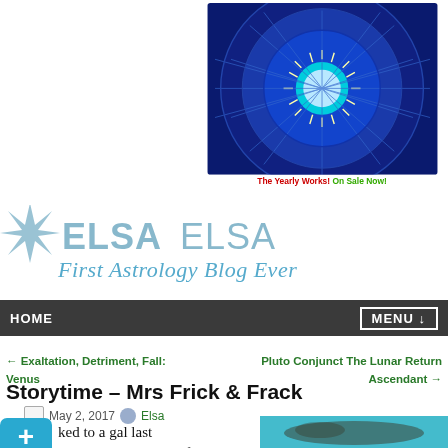[Figure (illustration): Blue circular zodiac wheel with sun in center, astrological symbols around the ring, cartoon zodiac figures. Below reads 'The Yearly Works! On Sale Now!' in red and green text.]
[Figure (logo): ElsaElsa First Astrology Blog Ever logo with blue star and teal/blue text in cursive and sans-serif styles.]
HOME    MENU ↓
← Exaltation, Detriment, Fall: Venus    Pluto Conjunct The Lunar Return Ascendant →
Storytime – Mrs Frick & Frack
May 2, 2017   Elsa
ked to a gal last night. This is a real life
[Figure (photo): Photo of a snake on a teal background, partially visible on the right side.]